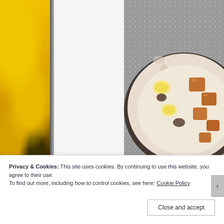[Figure (photo): Left strip showing yellow bananas with dark accents and a dark vertical divider]
[Figure (photo): Main photo of a round ceramic bowl containing a creamy dessert/smoothie bowl topped with banana slices and caramel-colored chunks, on a grey speckled surface]
Privacy & Cookies: This site uses cookies. By continuing to use this website, you agree to their use.
To find out more, including how to control cookies, see here: Cookie Policy
Close and accept